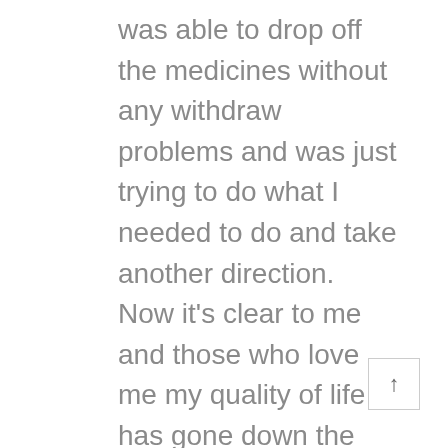was able to drop off the medicines without any withdraw problems and was just trying to do what I needed to do and take another direction. Now it's clear to me and those who love me my quality of life has gone down the drain. I don't know which way to turn. I did ask the doctor who has been giving me the injections if having some type of mild medication be a consideration and he prescribed a low does of anti depressant to take at bed time. It turned out it was the type the increased the serotonin levels and I was awake awake half the night and could not sleep. Something I have a hard enough time doing as it is. All I know is I don't see things improving for myself or for those fortunate enough to still be treated. I also know that there are far more painful conditions than I